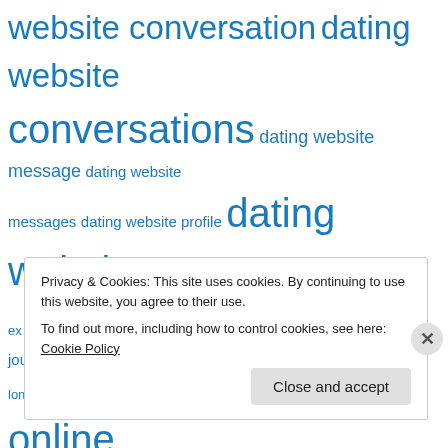website conversation dating website conversations dating website message dating website messages dating website profile dating websites ex facebook first date first dates funny Humor journal life long distance relationship love Message messages online dating Online dating service online dating site online dating sites online dating website online dating website conversation online dating websites
Privacy & Cookies: This site uses cookies. By continuing to use this website, you agree to their use.
To find out more, including how to control cookies, see here: Cookie Policy
Close and accept